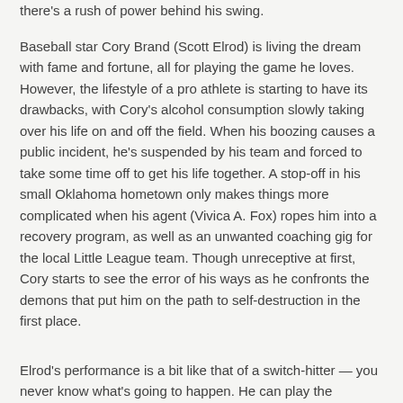there's a rush of power behind his swing.
Baseball star Cory Brand (Scott Elrod) is living the dream with fame and fortune, all for playing the game he loves. However, the lifestyle of a pro athlete is starting to have its drawbacks, with Cory's alcohol consumption slowly taking over his life on and off the field. When his boozing causes a public incident, he's suspended by his team and forced to take some time off to get his life together. A stop-off in his small Oklahoma hometown only makes things more complicated when his agent (Vivica A. Fox) ropes him into a recovery program, as well as an unwanted coaching gig for the local Little League team. Though unreceptive at first, Cory starts to see the error of his ways as he confronts the demons that put him on the path to self-destruction in the first place.
Elrod's performance is a bit like that of a switch-hitter — you never know what's going to happen. He can play the